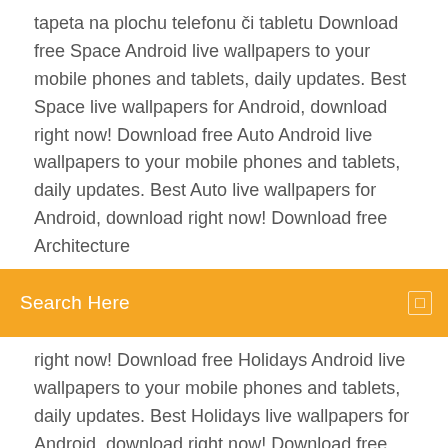tapeta na plochu telefonu či tabletu Download free Space Android live wallpapers to your mobile phones and tablets, daily updates. Best Space live wallpapers for Android, download right now! Download free Auto Android live wallpapers to your mobile phones and tablets, daily updates. Best Auto live wallpapers for Android, download right now! Download free Architecture
[Figure (screenshot): Orange/yellow search bar with text 'Search Here' on the left and a small square icon on the right]
right now! Download free Holidays Android live wallpapers to your mobile phones and tablets, daily updates. Best Holidays live wallpapers for Android, download right now! Download free Animals Android live wallpapers to your mobile phones and tablets, daily updates. Best Animals live wallpapers for Android, download right now!
Download>> 3D Wallpaper Parallax Pro – 4D Backgrounds v6.0.339 Apk | 10 MB | Resumable Links | Requires : Android 4.2 and up | 350+ official 4K